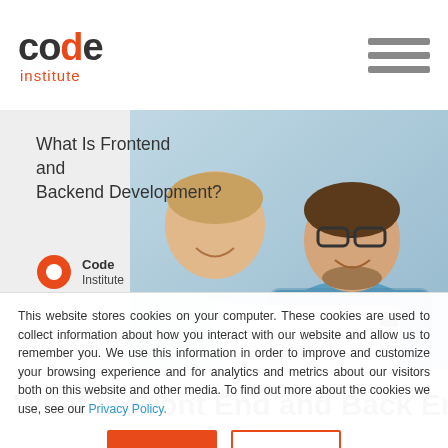code institute
[Figure (screenshot): Blog post card showing two men smiling at a laptop, with title 'What Is Frontend and Backend Development?' and Code Institute author logo]
What Is Front End and Back End
This website stores cookies on your computer. These cookies are used to collect information about how you interact with our website and allow us to remember you. We use this information in order to improve and customize your browsing experience and for analytics and metrics about our visitors both on this website and other media. To find out more about the cookies we use, see our Privacy Policy.
Accept
Ignore